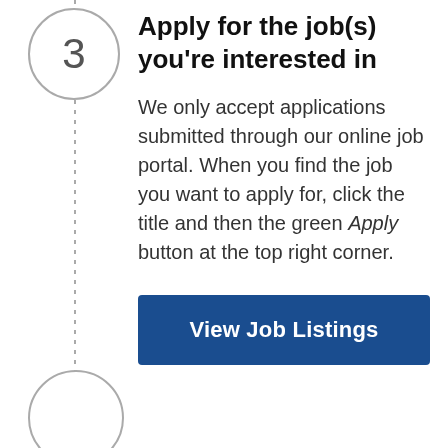3 Apply for the job(s) you're interested in
We only accept applications submitted through our online job portal. When you find the job you want to apply for, click the title and then the green Apply button at the top right corner.
[Figure (other): Blue button labeled 'View Job Listings']